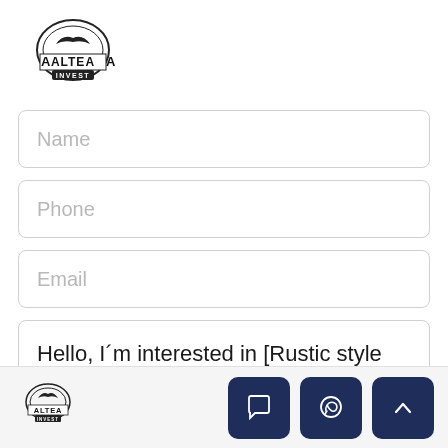[Figure (logo): Altea Invest logo at top left, circular emblem with eagle and text ALTEA INVEST]
Name
Phone
Email
Hello, I´m interested in [Rustic style villa in Albir]
[Figure (logo): Altea Invest small logo at bottom left in footer bar]
[Figure (other): Three dark navy icon buttons at bottom right: chat bubble, WhatsApp, and scroll-to-top arrow]